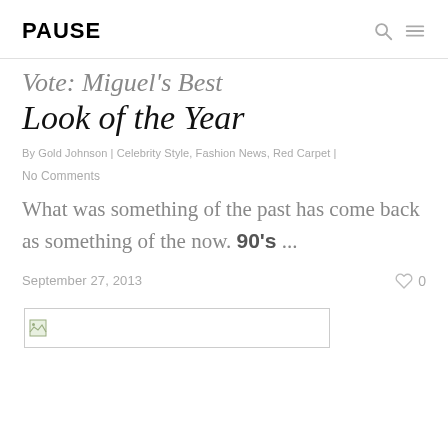PAUSE
Vote: Miguel's Best Look of the Year
By Gold Johnson | Celebrity Style, Fashion News, Red Carpet |
No Comments
What was something of the past has come back as something of the now. 90's ...
September 27, 2013
[Figure (photo): Broken image placeholder thumbnail]